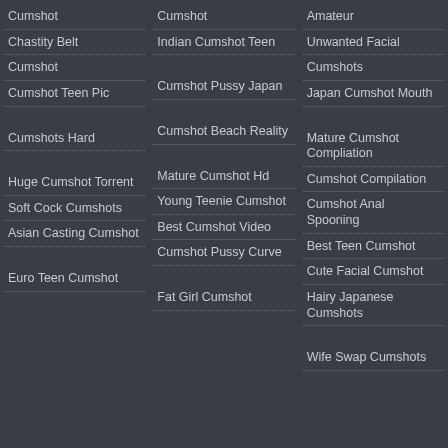Cumshot
Chastity Belt
Cumshot
Cumshot Teen Pic
Cumshots Hard
Huge Cumshot Torrent
Soft Cock Cumshots
Asian Casting Cumshot
Euro Teen Cumshot
Cumshot
Indian Cumshot Teen
Cumshot Pussy Japan
Cumshot Beach Reality
Mature Cumshot Hd
Young Teenie Cumshot
Best Cumshot Video
Cumshot Pussy Curve
Fat Girl Cumshot
Amateur
Unwanted Facial
Cumshots
Japan Cumshot Mouth
Mature Cumshot Compliation
Cumshot Compilation
Cumshot Anal Spooning
Best Teen Cumshot
Cute Facial Cumshot
Hairy Japanese Cumshots
Wife Swap Cumshots